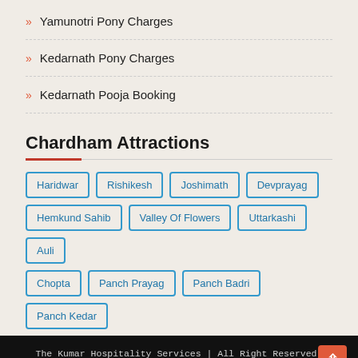Yamunotri Pony Charges
Kedarnath Pony Charges
Kedarnath Pooja Booking
Chardham Attractions
Haridwar
Rishikesh
Joshimath
Devprayag
Hemkund Sahib
Valley Of Flowers
Uttarkashi
Auli
Chopta
Panch Prayag
Panch Badri
Panch Kedar
The Kumar Hospitality Services | All Right Reserved. Home About Contact Us Terms & Conditions